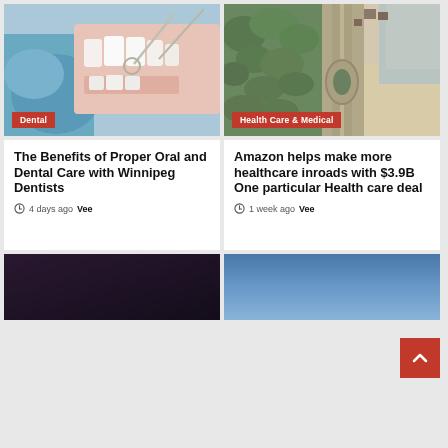[Figure (photo): Close-up of a dental examination, dentist tools in patient's open mouth]
Dental
[Figure (photo): Aerial view of a coastal road with beach, trees, and ocean]
Health Care & Medical
The Benefits of Proper Oral and Dental Care with Winnipeg Dentists
4 days ago Vee
Amazon helps make more healthcare inroads with $3.9B One particular Health care deal
1 week ago Vee
[Figure (photo): Dark gradient background photo, partial view]
[Figure (photo): Blue sky gradient photo, partial view]